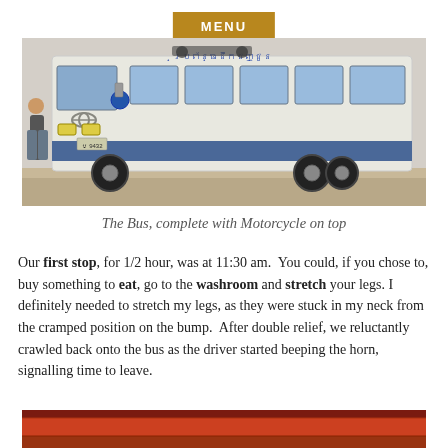MENU
[Figure (photo): A white and blue Toyota bus/minibus parked on a dirt road, with a person standing near the front. The bus has Cambodian script text on it and appears to have a motorcycle on top.]
The Bus, complete with Motorcycle on top
Our first stop, for 1/2 hour, was at 11:30 am. You could, if you chose to, buy something to eat, go to the washroom and stretch your legs. I definitely needed to stretch my legs, as they were stuck in my neck from the cramped position on the bump. After double relief, we reluctantly crawled back onto the bus as the driver started beeping the horn, signalling time to leave.
[Figure (photo): Bottom of another photo, showing a red and brown structure, partially visible.]